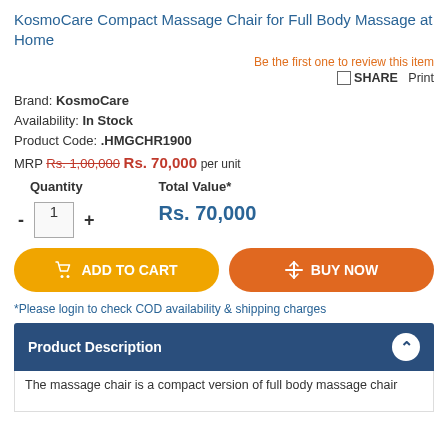KosmoCare Compact Massage Chair for Full Body Massage at Home
Be the first one to review this item
🔗 SHARE   Print
Brand: KosmoCare
Availability: In Stock
Product Code: .HMGCHR1900
MRP Rs. 1,00,000 Rs. 70,000 per unit
Quantity  Total Value*
- 1 +  Rs. 70,000
ADD TO CART   BUY NOW
*Please login to check COD availability & shipping charges
Product Description
The massage chair is a compact version of full body massage chair